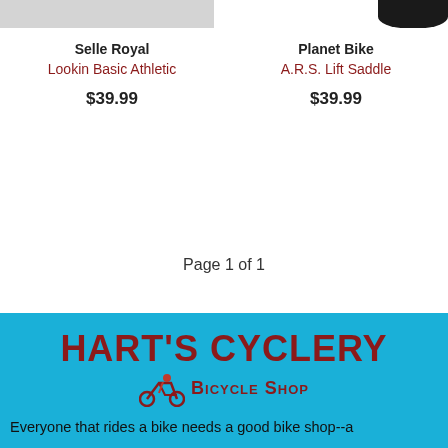[Figure (photo): Partial product image of Selle Royal Lookin Basic Athletic saddle (gray/white) on left, and partial product image of Planet Bike A.R.S. Lift Saddle (black) on right]
Selle Royal
Lookin Basic Athletic
$39.99
Planet Bike
A.R.S. Lift Saddle
$39.99
Page 1 of 1
[Figure (logo): Hart's Cyclery Bicycle Shop logo with cyclist icon on sky-blue background]
Everyone that rides a bike needs a good bike shop--a